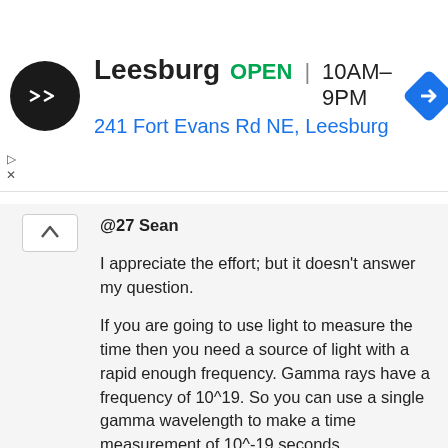[Figure (screenshot): Ad banner for Leesburg store: logo (black circle with double-arrow icon), store name 'Leesburg', OPEN status in green, hours '10AM–9PM', address '241 Fort Evans Rd NE, Leesburg' in blue, navigation diamond icon on right. Play and X controls on left side.]
@27 Sean
I appreciate the effort; but it doesn't answer my question.

If you are going to use light to measure the time then you need a source of light with a rapid enough frequency. Gamma rays have a frequency of 10^19. So you can use a single gamma wavelength to make a time measurement of 10^-19 seconds.

So I need much more energetic photons than gamma rays to measure time intervals smaller than 10^-19 seconds with photons. So what do I use? Well not photons. I do not know how some excellent scientists determined that Z and W particles have half lives of 10^-25 seconds. Nice work though and I'm sure it involves physical insight and statisitics.